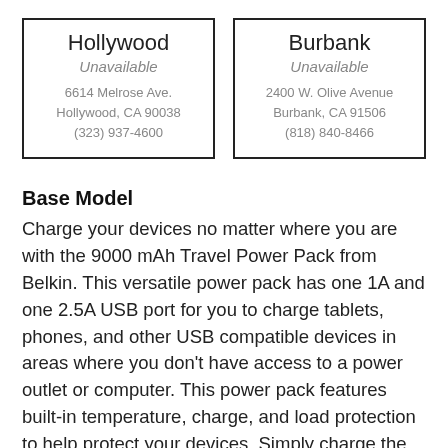| Hollywood | Burbank |
| --- | --- |
| Unavailable | Unavailable |
| 6614 Melrose Ave.
Hollywood, CA 90038
(323) 937-4600 | 2400 W. Olive Avenue
Burbank, CA 91506
(818) 840-8466 |
Base Model
Charge your devices no matter where you are with the 9000 mAh Travel Power Pack from Belkin. This versatile power pack has one 1A and one 2.5A USB port for you to charge tablets, phones, and other USB compatible devices in areas where you don't have access to a power outlet or computer. This power pack features built-in temperature, charge, and load protection to help protect your devices. Simply charge the